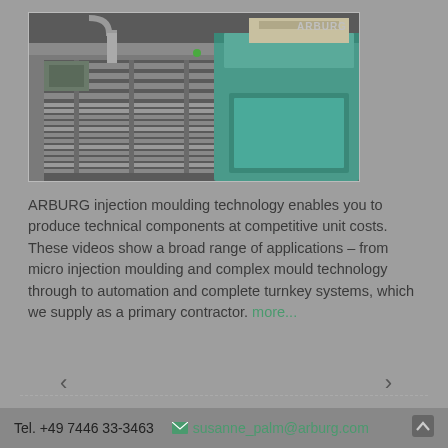[Figure (photo): Industrial injection moulding machine by ARBURG — shows metal frame structures, conveyor tracks, and a large teal/green machine cabinet with ARBURG logo visible in the upper right.]
ARBURG injection moulding technology enables you to produce technical components at competitive unit costs. These videos show a broad range of applications – from micro injection moulding and complex mould technology through to automation and complete turnkey systems, which we supply as a primary contractor. more...
Tel. +49 7446 33-3463  susanne_palm@arburg.com